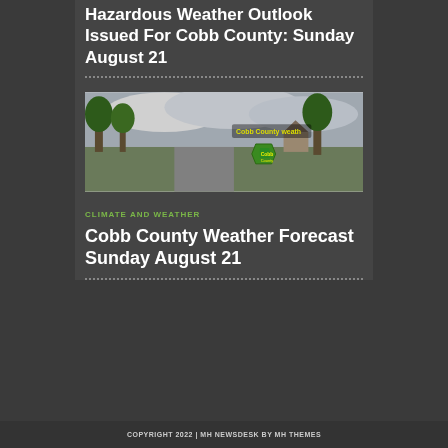Hazardous Weather Outlook Issued For Cobb County: Sunday August 21
[Figure (photo): Street scene with trees and cloudy sky; Cobb County weather branding overlay with yellow text and green shield logo]
CLIMATE AND WEATHER
Cobb County Weather Forecast Sunday August 21
COPYRIGHT 2022 | MH NEWSDESK BY MH THEMES